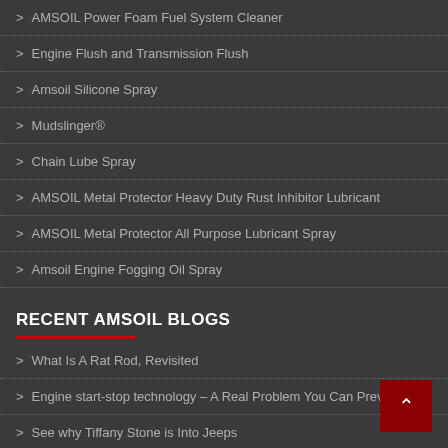AMSOIL Power Foam Fuel System Cleaner
Engine Flush and Transmission Flush
Amsoil Silicone Spray
Mudslinger®
Chain Lube Spray
AMSOIL Metal Protector Heavy Duty Rust Inhibitor Lubricant
AMSOIL Metal Protector All Purpose Lubricant Spray
Amsoil Engine Fogging Oil Spray
RECENT AMSOIL BLOGS
What Is A Rat Rod, Revisited
Engine start-stop technology – A Real Problem You Can Prevent
See why Tiffany Stone is Into Jeeps
Winter Driving Tips